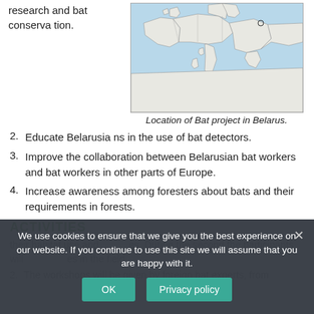research and bat conservation.
[Figure (map): Map showing location of Bat project in Belarus, depicting Europe and Mediterranean region with countries outlined and sea areas in blue.]
Location of Bat project in Belarus.
2. Educate Belarusians in the use of bat detectors.
3. Improve the collaboration between Belarusian bat workers and bat workers in other parts of Europe.
4. Increase awareness among foresters about bats and their requirements in forests.
ACTIVITIES
their habitat use and activities. During the second the participants will practice the activities in the field.
2. The workshops will be given by foreign bat experts, from
We use cookies to ensure that we give you the best experience on our website. If you continue to use this site we will assume that you are happy with it.